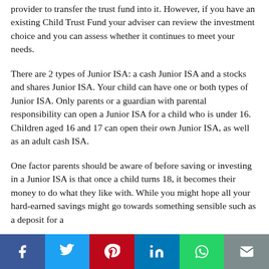provider to transfer the trust fund into it. However, if you have an existing Child Trust Fund your adviser can review the investment choice and you can assess whether it continues to meet your needs.
There are 2 types of Junior ISA: a cash Junior ISA and a stocks and shares Junior ISA. Your child can have one or both types of Junior ISA. Only parents or a guardian with parental responsibility can open a Junior ISA for a child who is under 16. Children aged 16 and 17 can open their own Junior ISA, as well as an adult cash ISA.
One factor parents should be aware of before saving or investing in a Junior ISA is that once a child turns 18, it becomes their money to do what they like with. While you might hope all your hard-earned savings might go towards something sensible such as a deposit for a
[Figure (infographic): Social share bar with Facebook, Twitter, Pinterest, LinkedIn, WhatsApp, and Email buttons]